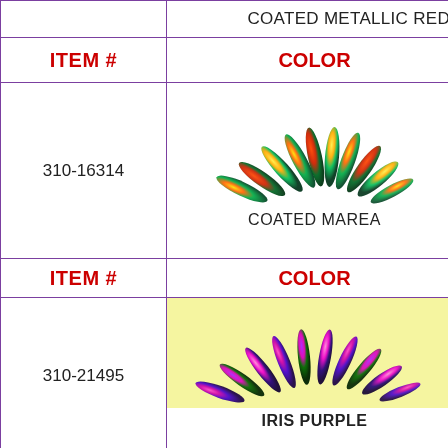| ITEM # | COLOR |
| --- | --- |
|  | COATED METALLIC RED |
| ITEM # | COLOR |
| 310-16314 | COATED MAREA |
| ITEM # | COLOR |
| 310-21495 | IRIS PURPLE |